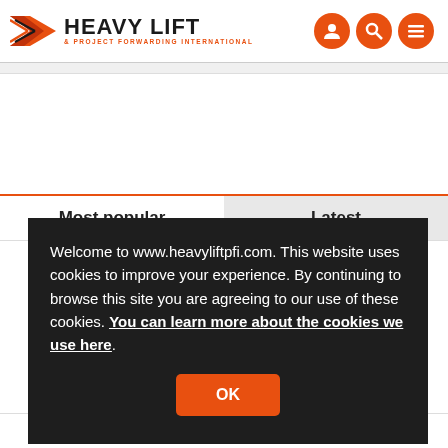[Figure (logo): Heavy Lift & Project Forwarding International logo with orange arrow icon and three orange circle navigation icons]
Most popular
Latest
Welcome to www.heavyliftpfi.com. This website uses cookies to improve your experience. By continuing to browse this site you are agreeing to our use of these cookies. You can learn more about the cookies we use here.